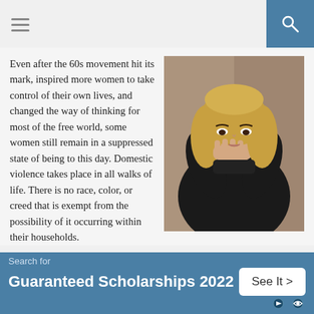Navigation bar with hamburger menu and search icon
Even after the 60s movement hit its mark, inspired more women to take control of their own lives, and changed the way of thinking for most of the free world, some women still remain in a suppressed state of being to this day. Domestic violence takes place in all walks of life. There is no race, color, or creed that is exempt from the possibility of it occurring within their households.
[Figure (photo): Blonde woman in black jacket with hands clasped near her mouth, looking distressed]
Battered women are made to feel worthless and insignificant
Search for Guaranteed Scholarships 2022 See It >